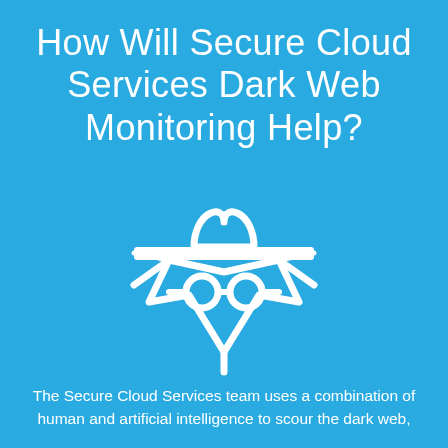How Will Secure Cloud Services Dark Web Monitoring Help?
[Figure (illustration): White outline icon of a spy/detective character: a figure wearing a wide-brimmed hat with a heart-like brim detail, round glasses (goggles), and a cape/cloak with jagged edges, all in white on blue background]
The Secure Cloud Services team uses a combination of human and artificial intelligence to scour the dark web,